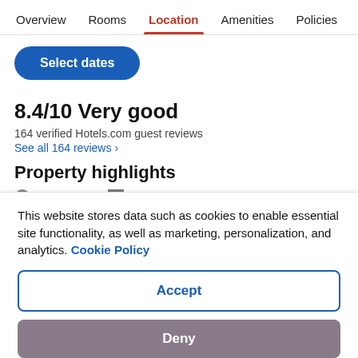Overview  Rooms  Location  Amenities  Policies  Reviews
Select dates
8.4/10 Very good
164 verified Hotels.com guest reviews
See all 164 reviews  >
Property highlights
Free WiFi   Non-smoking
This website stores data such as cookies to enable essential site functionality, as well as marketing, personalization, and analytics. Cookie Policy
Accept
Deny